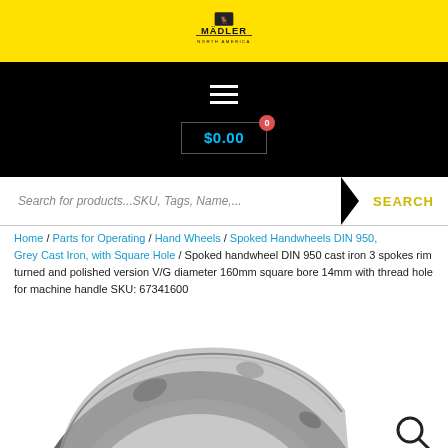[Figure (logo): Madler North America logo on yellow background]
[Figure (screenshot): Black navigation bar with hamburger menu icon and cart showing $0.00 with badge 0]
Search for products...SKU, Tags, Name,...
Home / Parts for Operating / Hand Wheels / Spoked Handwheels DIN 950, Grey Cast Iron, with Square Hole / Spoked handwheel DIN 950 cast iron 3 spokes rim turned and polished version V/G diameter 160mm square bore 14mm with thread hole for machine handle SKU: 67341600
[Figure (photo): Partial view of a grey cast iron spoked handwheel DIN 950, showing the rim section. A magnifier icon is visible in the bottom right corner.]